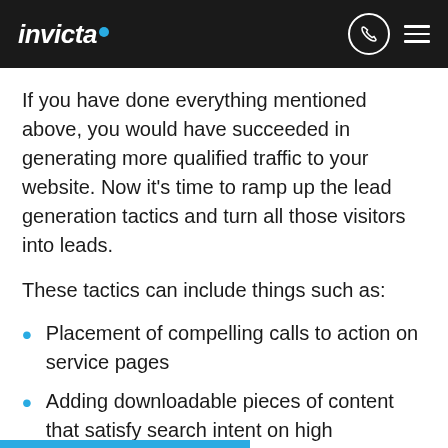invicta
If you have done everything mentioned above, you would have succeeded in generating more qualified traffic to your website. Now it’s time to ramp up the lead generation tactics and turn all those visitors into leads.
These tactics can include things such as:
Placement of compelling calls to action on service pages
Adding downloadable pieces of content that satisfy search intent on high